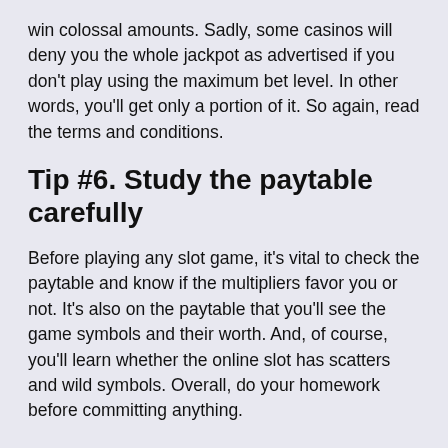win colossal amounts. Sadly, some casinos will deny you the whole jackpot as advertised if you don't play using the maximum bet level. In other words, you'll get only a portion of it. So again, read the terms and conditions.
Tip #6. Study the paytable carefully
Before playing any slot game, it's vital to check the paytable and know if the multipliers favor you or not. It's also on the paytable that you'll see the game symbols and their worth. And, of course, you'll learn whether the online slot has scatters and wild symbols. Overall, do your homework before committing anything.
Tip #7. Practice with free money